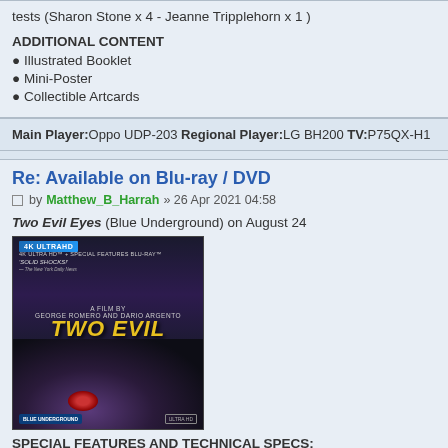tests (Sharon Stone x 4 - Jeanne Tripplehorn x 1 )
ADDITIONAL CONTENT
Illustrated Booklet
Mini-Poster
Collectible Artcards
Main Player: Oppo UDP-203  Regional Player: LG BH200  TV: P75QX-H1
Re: Available on Blu-ray / DVD
by Matthew_B_Harrah » 26 Apr 2021 04:58
Two Evil Eyes (Blue Underground) on August 24
[Figure (photo): Two Evil Eyes 4K Ultra HD Blu-ray cover art showing a horror film with owl/creature imagery, yellow stylized title text, directed by George Romero and Dario Argento, starring Harvey Keitel]
SPECIAL FEATURES AND TECHNICAL SPECS: